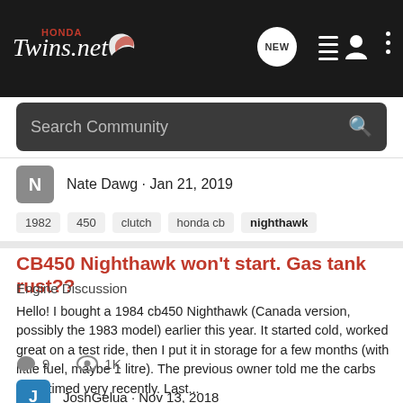[Figure (logo): HondaTwins.net logo with wing graphic in white and red on dark background]
Search Community
Nate Dawg · Jan 21, 2019
1982  450  clutch  honda cb  nighthawk
CB450 Nighthawk won't start. Gas tank rust??
Engine Discussion
Hello! I bought a 1984 cb450 Nighthawk (Canada version, possibly the 1983 model) earlier this year. It started cold, worked great on a test ride, then I put it in storage for a few months (with little fuel, maybe 1 litre). The previous owner told me the carbs were timed very recently. Last...
9  1K
JoshGelua · Nov 13, 2018